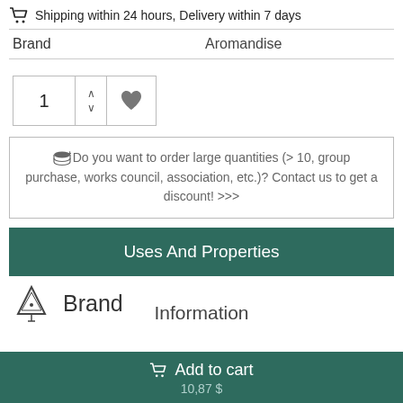🛒 Shipping within 24 hours, Delivery within 7 days
| Brand | Aromandise |
| --- | --- |
[Figure (other): Quantity selector with up/down stepper and heart/wishlist button]
🗄️+ Do you want to order large quantities (> 10, group purchase, works council, association, etc.)? Contact us to get a discount! >>>
Uses And Properties
Brand
Information
🛒 Add to cart
10,87 $